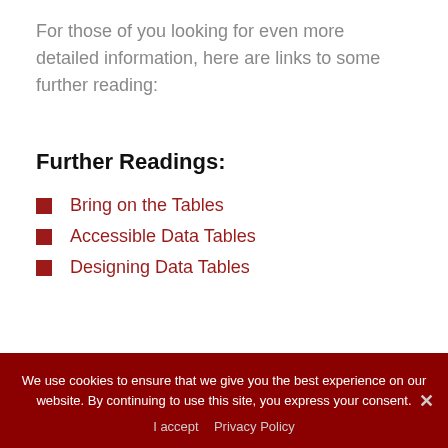For those of you looking for even more detailed information, here are links to some further reading:
Further Readings:
Bring on the Tables
Accessible Data Tables
Designing Data Tables
We use cookies to ensure that we give you the best experience on our website. By continuing to use this site, you express your consent. I accept Privacy Policy